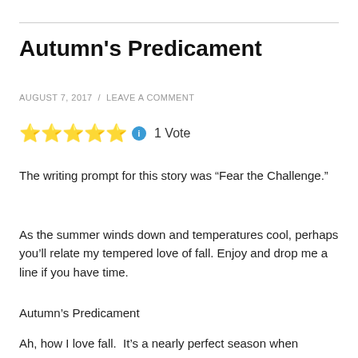Autumn's Predicament
AUGUST 7, 2017  /  LEAVE A COMMENT
[Figure (other): Five gold star rating with blue info icon and '1 Vote' label]
The writing prompt for this story was “Fear the Challenge.”
As the summer winds down and temperatures cool, perhaps you’ll relate my tempered love of fall. Enjoy and drop me a line if you have time.
Autumn’s Predicament
Ah, how I love fall.  It’s a nearly perfect season when